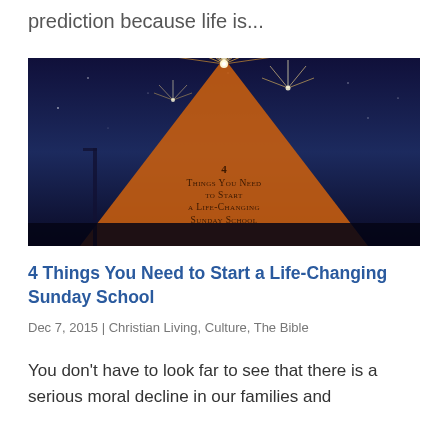prediction because life is...
[Figure (photo): Fireworks photo with an orange triangle overlay containing text: '4 Things You Need to Start a Life-Changing Sunday School']
4 Things You Need to Start a Life-Changing Sunday School
Dec 7, 2015 | Christian Living, Culture, The Bible
You don't have to look far to see that there is a serious moral decline in our families and